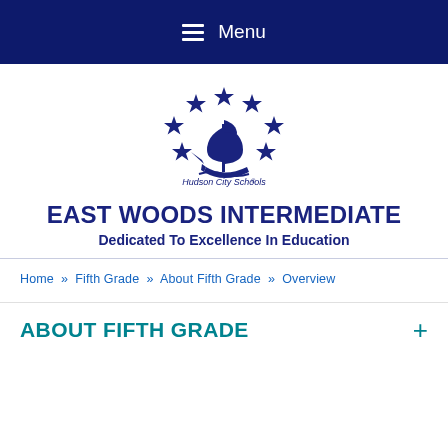≡  Menu
[Figure (logo): Hudson City Schools logo: a sailing ship surrounded by a circle of blue stars, with text 'Hudson City Schools' below]
EAST WOODS INTERMEDIATE
Dedicated To Excellence In Education
Home  »  Fifth Grade  »  About Fifth Grade  »  Overview
ABOUT FIFTH GRADE